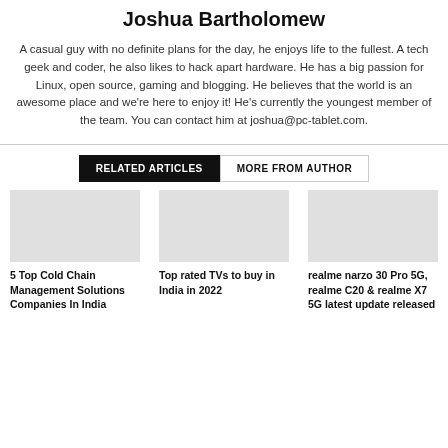Joshua Bartholomew
A casual guy with no definite plans for the day, he enjoys life to the fullest. A tech geek and coder, he also likes to hack apart hardware. He has a big passion for Linux, open source, gaming and blogging. He believes that the world is an awesome place and we're here to enjoy it! He's currently the youngest member of the team. You can contact him at joshua@pc-tablet.com.
RELATED ARTICLES  MORE FROM AUTHOR
5 Top Cold Chain Management Solutions Companies In India
Top rated TVs to buy in India in 2022
realme narzo 30 Pro 5G, realme C20 & realme X7 5G latest update released